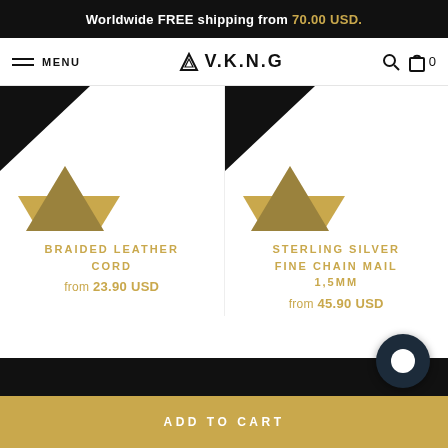Worldwide FREE shipping from 70.00 USD.
MENU | ▲V.K.N.G | 🔍 🛒 0
[Figure (photo): Product image area for Braided Leather Cord with gold triangle decoration]
[Figure (photo): Product image area for Sterling Silver Fine Chain Mail 1,5MM with gold triangle decoration]
BRAIDED LEATHER CORD
from 23.90 USD
STERLING SILVER FINE CHAIN MAIL 1,5MM
from 45.90 USD
ADD TO CART